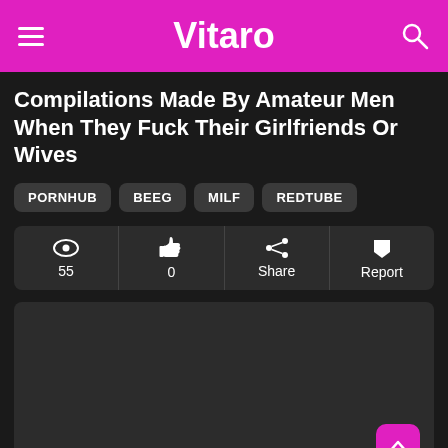Vitaro
Compilations Made By Amateur Men When They Fuck Their Girlfriends Or Wives
PORNHUB
BEEG
MILF
REDTUBE
| Views | Likes | Share | Report |
| --- | --- | --- | --- |
| 55 | 0 | Share | Report |
[Figure (other): Dark video placeholder area]